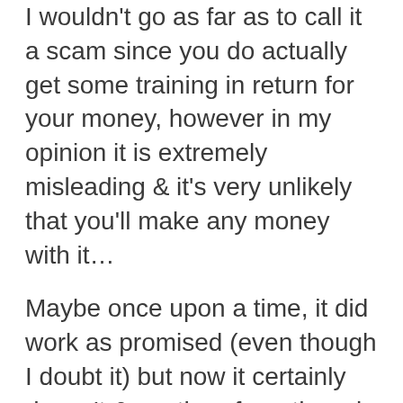I wouldn't go as far as to call it a scam since you do actually get some training in return for your money, however in my opinion it is extremely misleading & it's very unlikely that you'll make any money with it…
Maybe once upon a time, it did work as promised (even though I doubt it) but now it certainly doesn't & so, therefore, there is absolutely no way that I'll be recommending it to you because it's just a waste of money.
Like I said earlier in this review if you really want to start making good money online you could just go through a